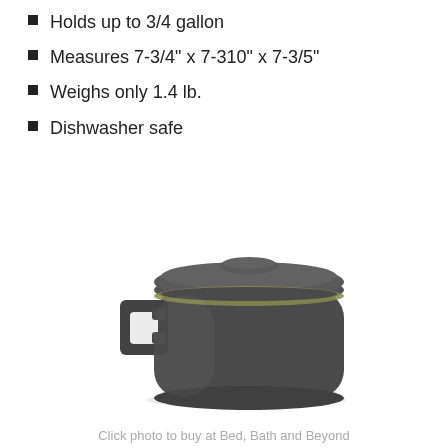Holds up to 3/4 gallon
Measures 7-3/4" x 7-310" x 7-3/5"
Weighs only 1.4 lb.
Dishwasher safe
[Figure (photo): A dark gray/charcoal colored compost bin with a lid and a square handle on the left side. The lid has a slight olive/tan colored rim gasket. The bucket is rounded square in shape.]
Click photo to buy at Bed, Bath and Beyond